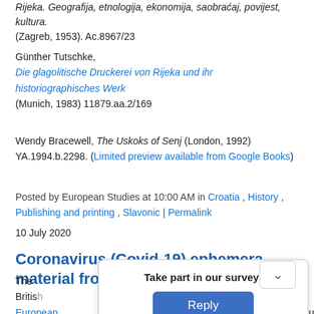Rijeka. Geografija, etnologija, ekonomija, saobraćaj, povijest, kultura. (Zagreb, 1953). Ac.8967/23
Günther Tutschke,
Die glagolitische Druckerei von Rijeka und ihr historiographisches Werk
(Munich, 1983) 11879.aa.2/169
Wendy Bracewell, The Uskoks of Senj (London, 1992) YA.1994.b.2298. (Limited preview available from Google Books)
Posted by European Studies at 10:00 AM in Croatia , History , Publishing and printing , Slavonic | Permalink
10 July 2020
Coronavirus (Covid-19) ephemera material from Southeast Europe
The British ... Eastern European ... resources and prese ... Southeast Europe du...
Take part in our survey!
Reply